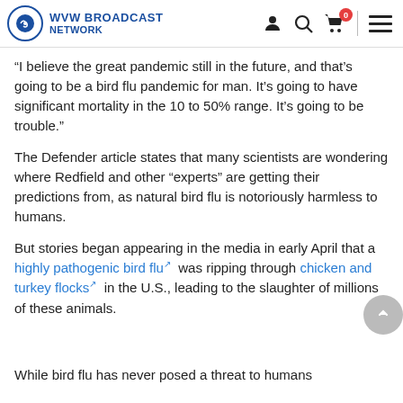WVW BROADCAST NETWORK
“I believe the great pandemic still in the future, and that’s going to be a bird flu pandemic for man. It’s going to have significant mortality in the 10 to 50% range. It’s going to be trouble.”
The Defender article states that many scientists are wondering where Redfield and other “experts” are getting their predictions from, as natural bird flu is notoriously harmless to humans.
But stories began appearing in the media in early April that a highly pathogenic bird flu was ripping through chicken and turkey flocks in the U.S., leading to the slaughter of millions of these animals.
While bird flu has never posed a threat to humans the…